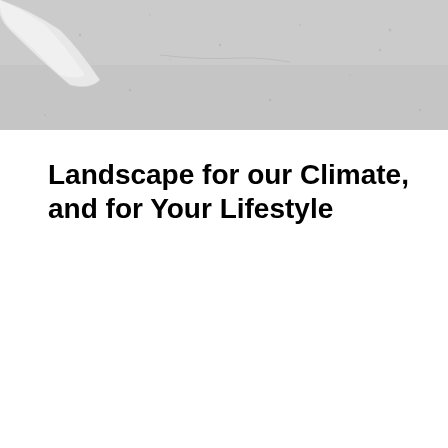[Figure (photo): A photograph showing a light-colored paved or concrete surface, likely a driveway or walkway, with a white curved structure or object visible at the top left corner. The surface has a speckled grey texture.]
Landscape for our Climate, and for Your Lifestyle